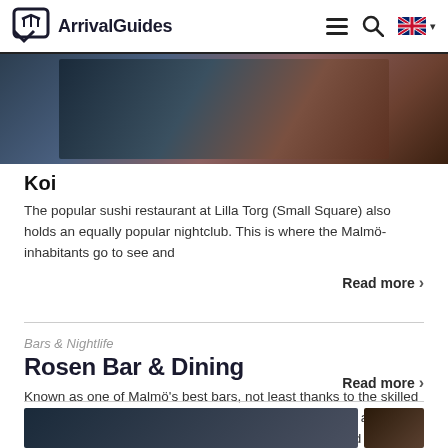ArrivalGuides
[Figure (photo): Interior restaurant/nightclub photo, dark ambiance]
Koi
The popular sushi restaurant at Lilla Torg (Small Square) also holds an equally popular nightclub. This is where the Malmö-inhabitants go to see and
Read more
Bars & Nightlife
Rosen Bar & Dining
Known as one of Malmö's best bars, not least thanks to the skilled bartenders. They find inspiration in classic cocktails and adapts them for today's tastes. If you want to have a really good cocktail take no short cuts.
Read more
[Figure (photo): Bottom thumbnail photos]